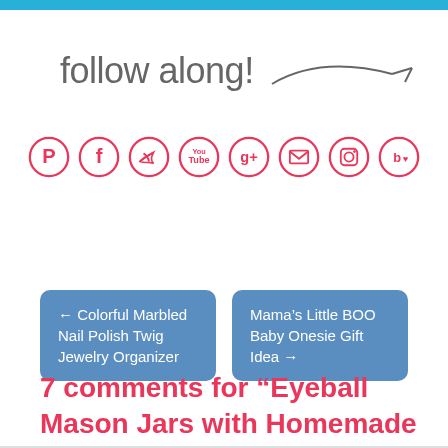follow along!
[Figure (infographic): Row of 8 pink circular social media icons: Pinterest, Facebook, Twitter, YouTube, Google+, Email, Instagram, Bloglovin]
← Colorful Marbled Nail Polish Twig Jewelry Organizer
Mama's Little BOO Baby Onesie Gift Idea →
7 comments for “Eyeball Mason Jars with Homemade Glittery Slime”